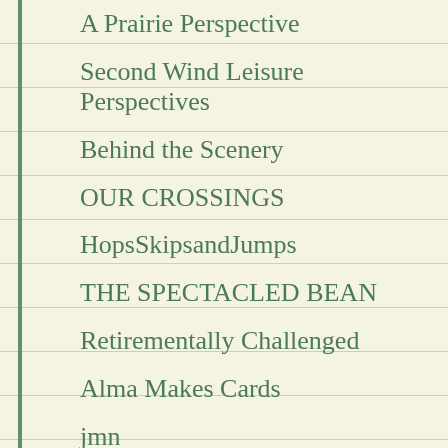A Prairie Perspective
Second Wind Leisure Perspectives
Behind the Scenery
OUR CROSSINGS
HopsSkipsandJumps
THE SPECTACLED BEAN
Retirementally Challenged
Alma Makes Cards
jmn